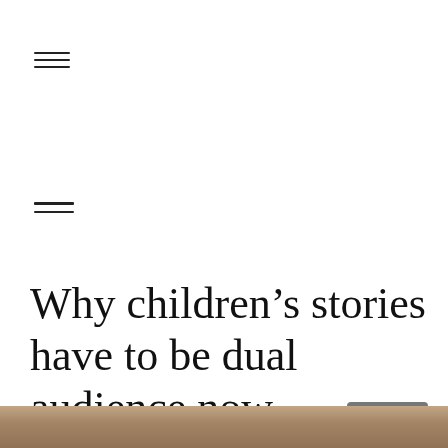[Figure (other): Hamburger menu icon (three horizontal lines) near top-left of page]
[Figure (other): Hamburger menu icon (two horizontal lines) in middle-left of page]
Why children’s stories have to be dual audience now
[Figure (photo): Partial photo visible at bottom of page, appears to show people or children, cropped]